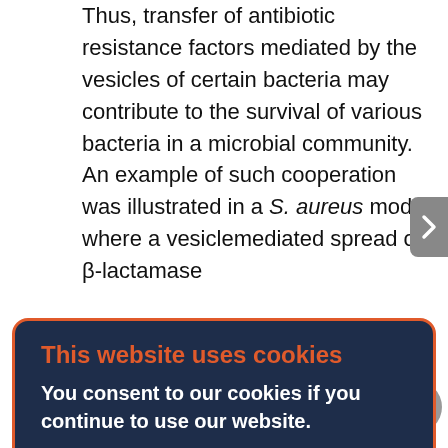Thus, transfer of antibiotic resistance factors mediated by the vesicles of certain bacteria may contribute to the survival of various bacteria in a microbial community. An example of such cooperation was illustrated in a S. aureus model, where a vesiclemediated spread of β-lactamase from these bacteria in microorganism populations contributed to the survival of gram-negative bacteria in an ampicillin-containing medium [78]. There is clear evidence of the participation of vesicles in bacterial adaptation to various stress conditions, including antimicrobials. However, it is obvious that comprehensive systematic studies using high-resolution techniques are required in order to uncover the role of vesicular components in the development of bacterial resistance to antibiotics. The development of post-genomic
[Figure (screenshot): Cookie consent modal overlay with dark navy background and orange border. Title 'This website uses cookies' in orange bold text. Body text 'You consent to our cookies if you continue to use our website.' in white. Subtitle 'About Cookies' in white bold. Blue OK button centered at bottom.]